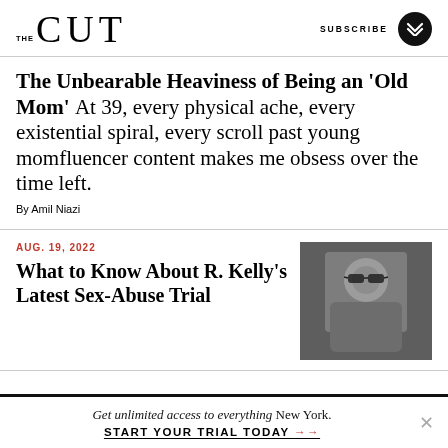THE CUT | SUBSCRIBE
The Unbearable Heaviness of Being an 'Old Mom' At 39, every physical ache, every existential spiral, every scroll past young momfluencer content makes me obsess over the time left.
By Amil Niazi
AUG. 19, 2022
What to Know About R. Kelly's Latest Sex-Abuse Trial
[Figure (photo): Black and white photo of a man wearing sunglasses and a suit]
Get unlimited access to everything New York. START YOUR TRIAL TODAY →